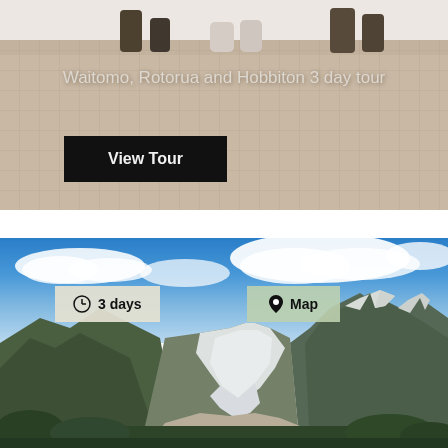[Figure (photo): Top tour card showing people's legs/feet standing on a tiled floor surface, with tour title overlay and View Tour button]
Waitomo, Rotorua and Hobbiton 3 day tour
View Tour
[Figure (photo): Bottom card showing a glacier valley landscape with snow-capped mountains, blue sky with clouds, green forested slopes, and a glacier descending into a rocky river valley. Badges showing '3 days' and 'Map' overlaid on top.]
3 days
Map